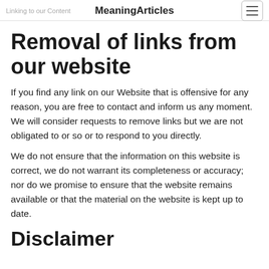MeaningArticles
Removal of links from our website
If you find any link on our Website that is offensive for any reason, you are free to contact and inform us any moment. We will consider requests to remove links but we are not obligated to or so or to respond to you directly.
We do not ensure that the information on this website is correct, we do not warrant its completeness or accuracy; nor do we promise to ensure that the website remains available or that the material on the website is kept up to date.
Disclaimer